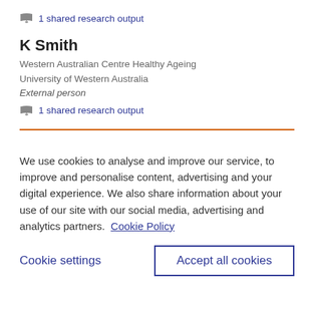1 shared research output
K Smith
Western Australian Centre Healthy Ageing
University of Western Australia
External person
1 shared research output
We use cookies to analyse and improve our service, to improve and personalise content, advertising and your digital experience. We also share information about your use of our site with our social media, advertising and analytics partners.  Cookie Policy
Cookie settings
Accept all cookies